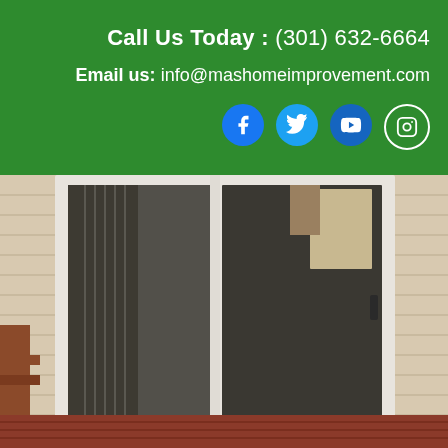Call Us Today : (301) 632-6664
Email us: info@mashomeimprovement.com
[Figure (infographic): Four social media icons: Facebook, Twitter, YouTube, Instagram on a green background]
[Figure (photo): Exterior photo of a home with a white-framed sliding glass patio door, beige vinyl siding, and a dark red wooden deck in the foreground. The reflection in the glass shows trees and the interior of the home.]